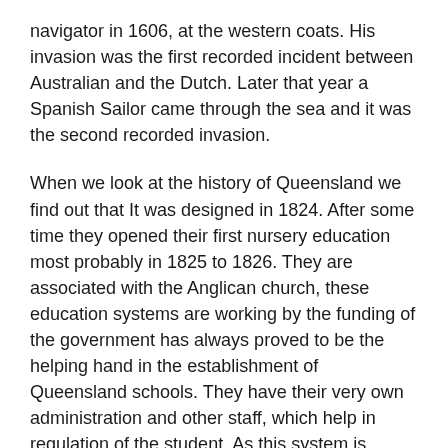navigator in 1606, at the western coats. His invasion was the first recorded incident between Australian and the Dutch. Later that year a Spanish Sailor came through the sea and it was the second recorded invasion.
When we look at the history of Queensland we find out that It was designed in 1824. After some time they opened their first nursery education most probably in 1825 to 1826. They are associated with the Anglican church, these education systems are working by the funding of the government has always proved to be the helping hand in the establishment of Queensland schools. They have their very own administration and other staff, which help in regulation of the student. As this system is online so they conduct online lectures and assignments for the students at free of cost.